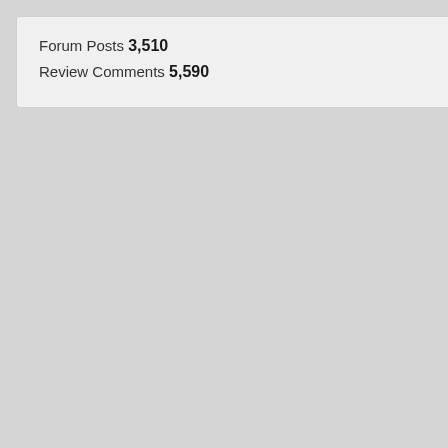Forum Posts 3,510
Review Comments 5,590
[Figure (photo): Album cover thumbnail (top, partially visible)]
Exodus The Atrocity...
[Figure (photo): Exodus album cover]
Bonded by Blood B...
[Figure (photo): Bonded by Blood album cover]
Ghoul Splatterthras...
[Figure (photo): Ghoul album cover]
Alestorm Terror on...
[Figure (photo): Alestorm album cover]
Destroyer 666 Pho...
[Figure (photo): Destroyer 666 album cover]
Exmortus In Hatrec...
[Figure (photo): Exmortus album cover]
De Lirium's Order ...
[Figure (photo): De Lirium's Order album cover]
[Figure (photo): Album cover thumbnail (bottom, partially visible)]